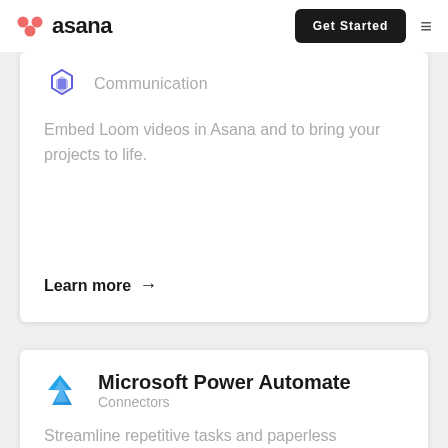asana | Get Started
Communication
Embed Loom videos in Asana and to bring your projects to life.
Learn more →
Microsoft Power Automate
Connectors
Streamline repetitive tasks and paperless